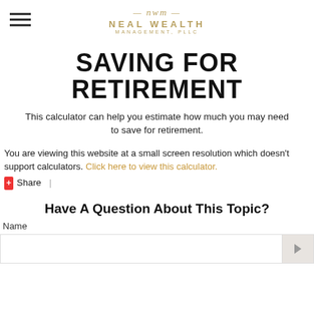Neal Wealth Management, PLLC
SAVING FOR RETIREMENT
This calculator can help you estimate how much you may need to save for retirement.
You are viewing this website at a small screen resolution which doesn't support calculators. Click here to view this calculator.
Share |
Have A Question About This Topic?
Name